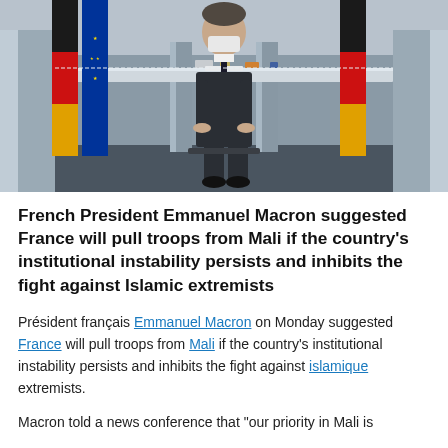[Figure (photo): French President Emmanuel Macron seated at a conference table wearing a face mask, with German and EU flags in the background in an ornate room]
French President Emmanuel Macron suggested France will pull troops from Mali if the country's institutional instability persists and inhibits the fight against Islamic extremists
Président français Emmanuel Macron on Monday suggested France will pull troops from Mali if the country's institutional instability persists and inhibits the fight against islamique extremists.
Macron told a news conference that "our priority in Mali is